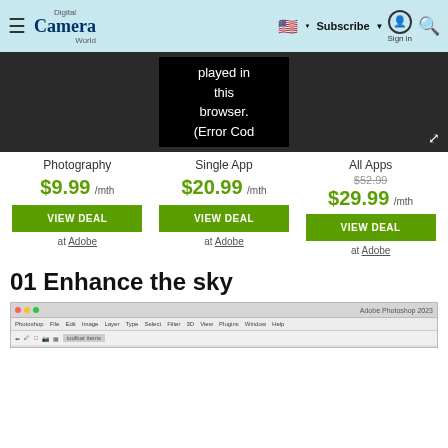Digital Camera World — Subscribe | Sign in
[Figure (screenshot): Dark video player area showing error message: 'played in this browser. (Error Cod' with expand/fullscreen icon in bottom right]
Photography $9.99 /mth VIEW DEAL at Adobe
Single App $20.99 /mth VIEW DEAL at Adobe
All Apps $52.99 $29.99 /mth VIEW DEAL at Adobe
01 Enhance the sky
[Figure (screenshot): Adobe Photoshop 2023 application screenshot showing menu bar and toolbar at the top]